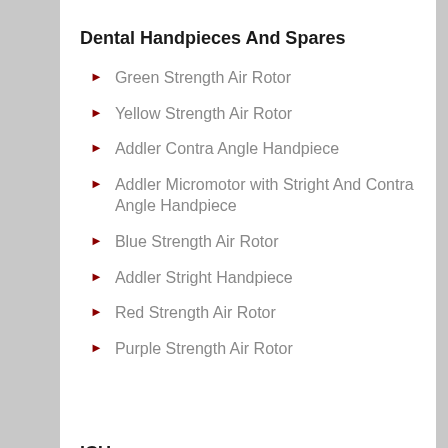Dental Handpieces And Spares
Green Strength Air Rotor
Yellow Strength Air Rotor
Addler Contra Angle Handpiece
Addler Micromotor with Stright And Contra Angle Handpiece
Blue Strength Air Rotor
Addler Stright Handpiece
Red Strength Air Rotor
Purple Strength Air Rotor
ICU